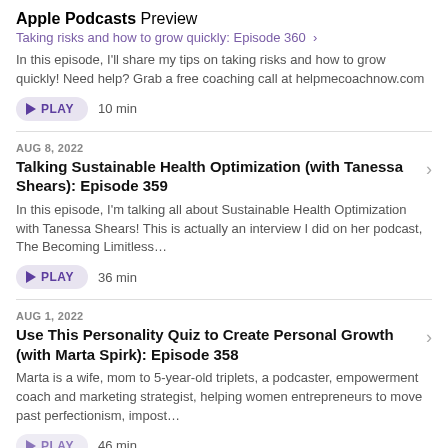Apple Podcasts Preview
Taking risks and how to grow quickly: Episode 360 ›
In this episode, I'll share my tips on taking risks and how to grow quickly! Need help? Grab a free coaching call at helpmecoachnow.com
PLAY  10 min
AUG 8, 2022
Talking Sustainable Health Optimization (with Tanessa Shears): Episode 359
In this episode, I'm talking all about Sustainable Health Optimization with Tanessa Shears! This is actually an interview I did on her podcast, The Becoming Limitless…
PLAY  36 min
AUG 1, 2022
Use This Personality Quiz to Create Personal Growth (with Marta Spirk): Episode 358
Marta is a wife, mom to 5-year-old triplets, a podcaster, empowerment coach and marketing strategist, helping women entrepreneurs to move past perfectionism, impost…
PLAY  46 min